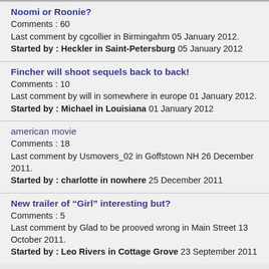Noomi or Roonie?
Comments : 60
Last comment by cgcollier in Birmingahm 05 January 2012.
Started by : Heckler in Saint-Petersburg 05 January 2012
Fincher will shoot sequels back to back!
Comments : 10
Last comment by will in somewhere in europe 01 January 2012.
Started by : Michael in Louisiana 01 January 2012
american movie
Comments : 18
Last comment by Usmovers_02 in Goffstown NH 26 December 2011.
Started by : charlotte in nowhere 25 December 2011
New trailer of “Girl” interesting but?
Comments : 5
Last comment by Glad to be prooved wrong in Main Street 13 October 2011.
Started by : Leo Rivers in Cottage Grove 23 September 2011